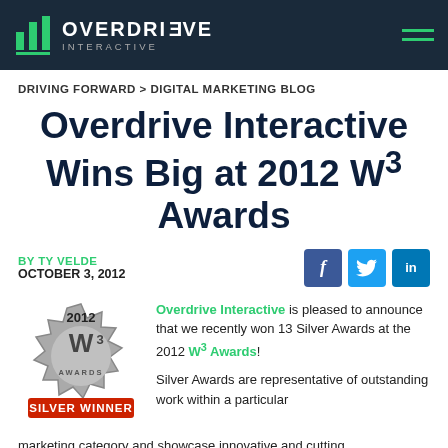OVERDRIVE INTERACTIVE
DRIVING FORWARD > DIGITAL MARKETING BLOG
Overdrive Interactive Wins Big at 2012 W³ Awards
BY TY VELDE
OCTOBER 3, 2012
[Figure (logo): 2012 W3 Awards Silver Winner badge/seal]
Overdrive Interactive is pleased to announce that we recently won 13 Silver Awards at the 2012 W³ Awards! Silver Awards are representative of outstanding work within a particular marketing category and showcase innovative and cutting edge...